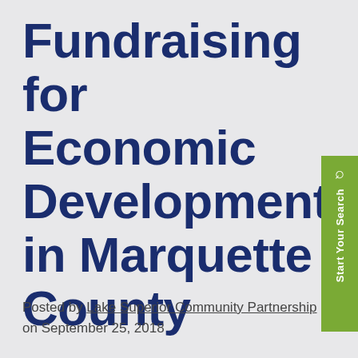Fundraising for Economic Development in Marquette County
Posted by Lake Superior Community Partnership on September 25, 2018
Fundraising. Often there are opportunities that i...